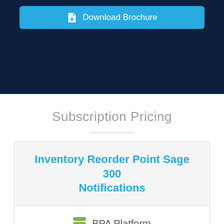[Figure (other): Download Brochure button on dark navy background]
Subscription Pricing
Inventory Reorder Point Sage 300 Notifications
BPA Platform
Starts from